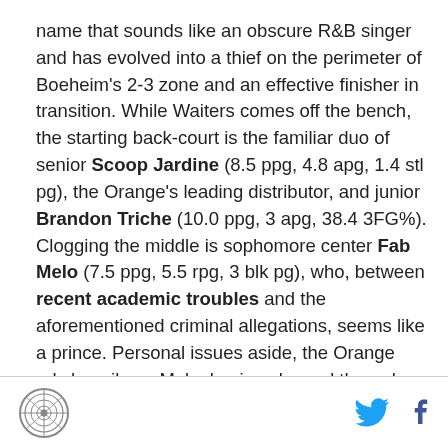name that sounds like an obscure R&B singer and has evolved into a thief on the perimeter of Boeheim's 2-3 zone and an effective finisher in transition. While Waiters comes off the bench, the starting back-court is the familiar duo of senior Scoop Jardine (8.5 ppg, 4.8 apg, 1.4 stl pg), the Orange's leading distributor, and junior Brandon Triche (10.0 ppg, 3 apg, 38.4 3FG%). Clogging the middle is sophomore center Fab Melo (7.5 ppg, 5.5 rpg, 3 blk pg), who, between recent academic troubles and the aforementioned criminal allegations, seems like a prince. Personal issues aside, the Orange rely heavily on Melo, having slogged through his three-game absence with a loss and two wins by a combined nine points. Flanking Melo is
[logo] [twitter] [facebook]